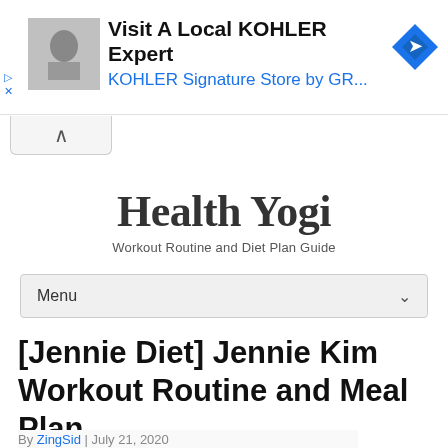[Figure (other): Advertisement banner: KOHLER Expert ad with gray product image thumbnail, navigation map icon, text 'Visit A Local KOHLER Expert' and 'KOHLER Signature Store by GR...']
Health Yogi
Workout Routine and Diet Plan Guide
Menu
[Jennie Diet] Jennie Kim Workout Routine and Meal Plan
By ZingSid | July 21, 2020